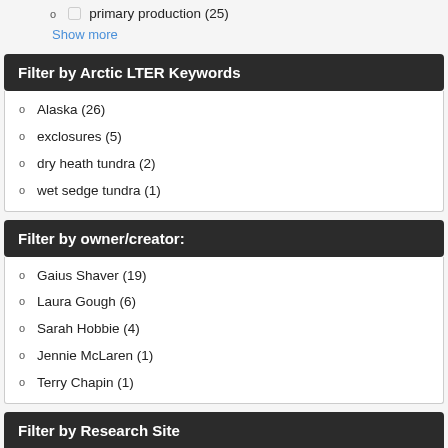primary production (25)
Show more
Filter by Arctic LTER Keywords
Alaska (26)
exclosures (5)
dry heath tundra (2)
wet sedge tundra (1)
Filter by owner/creator:
Gaius Shaver (19)
Laura Gough (6)
Sarah Hobbie (4)
Jennie McLaren (1)
Terry Chapin (1)
Filter by Research Site